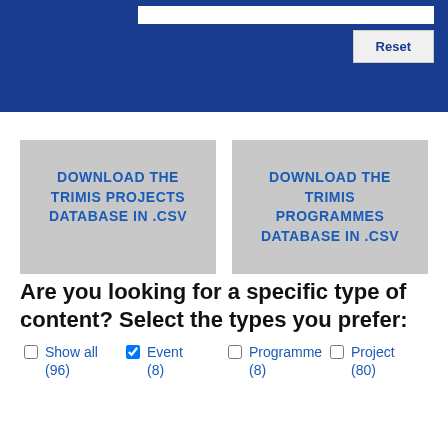[Figure (screenshot): Blue header bar with white input field and Reset button]
DOWNLOAD THE TRIMIS PROJECTS DATABASE IN .CSV
DOWNLOAD THE TRIMIS PROGRAMMES DATABASE IN .CSV
Are you looking for a specific type of content? Select the types you prefer:
Show all (96)
Event (8)
Programme (8)
Project (80)